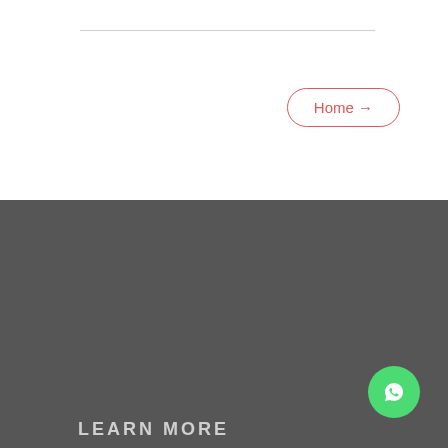[Figure (other): Horizontal divider line]
Home →
[Figure (logo): GINIKO Afghan TV logo with heart icon]
Watch Your Favorite Afghan Channels
[Figure (other): WhatsApp contact button (green circle with chat icon)]
LEARN MORE